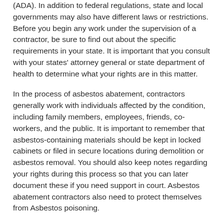(ADA). In addition to federal regulations, state and local governments may also have different laws or restrictions. Before you begin any work under the supervision of a contractor, be sure to find out about the specific requirements in your state. It is important that you consult with your states' attorney general or state department of health to determine what your rights are in this matter.
In the process of asbestos abatement, contractors generally work with individuals affected by the condition, including family members, employees, friends, co-workers, and the public. It is important to remember that asbestos-containing materials should be kept in locked cabinets or filed in secure locations during demolition or asbestos removal. You should also keep notes regarding your rights during this process so that you can later document these if you need support in court. Asbestos abatement contractors also need to protect themselves from Asbestos poisoning.